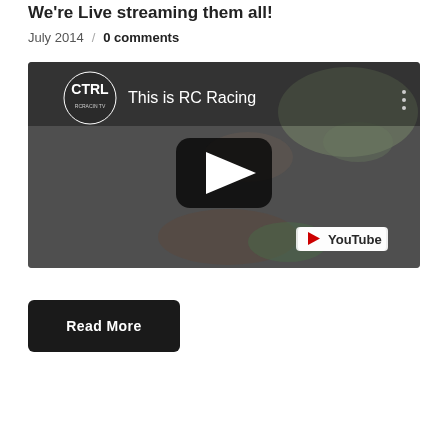We're Live streaming them all!
July 2014 / 0 comments
[Figure (screenshot): YouTube video embed showing 'This is RC Racing' with CTRL RC Racing TV logo, play button in center, and YouTube logo in lower right. Background shows RC cars racing on a track.]
Read More